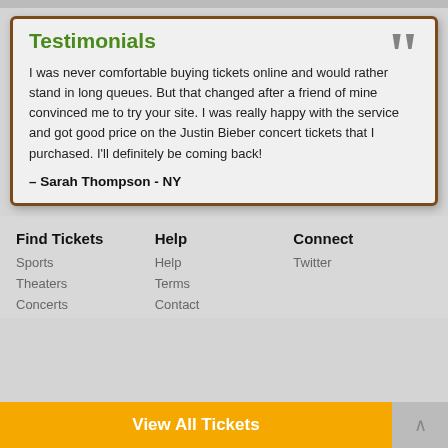Testimonials
I was never comfortable buying tickets online and would rather stand in long queues. But that changed after a friend of mine convinced me to try your site. I was really happy with the service and got good price on the Justin Bieber concert tickets that I purchased. I'll definitely be coming back!
– Sarah Thompson - NY
Find Tickets
Sports
Theaters
Concerts
Help
Help
Terms
Contact
Connect
Twitter
View All Tickets